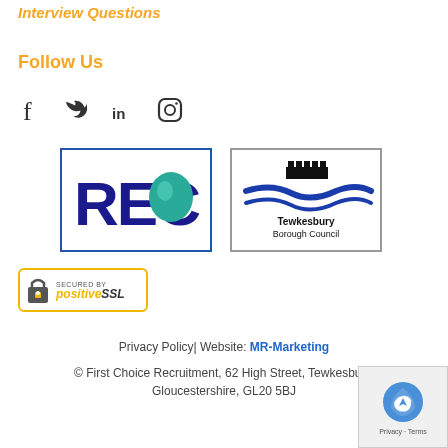Interview Questions
Follow Us
[Figure (other): Social media icons: Facebook, Twitter, LinkedIn, Instagram]
[Figure (logo): REC (Recruitment and Employment Confederation) logo — blue border box with large blue REC letters and a teal circle]
[Figure (logo): Tewkesbury Borough Council logo — grey border box with blue river/road graphic, castle silhouette, and text Tewkesbury Borough Council]
[Figure (other): PositiveSSL secured badge — gold border, padlock icon, text SECURED BY positive SSL]
Privacy Policy| Website: MR-Marketing
© First Choice Recruitment, 62 High Street, Tewkesbury, Gloucestershire, GL20 5BJ